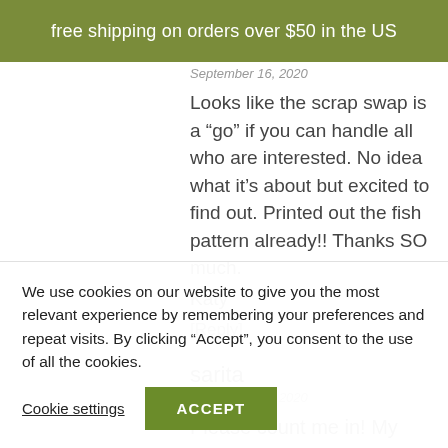free shipping on orders over $50 in the US
September 16, 2020
Looks like the scrap swap is a “go” if you can handle all who are interested. No idea what it’s about but excited to find out. Printed out the fish pattern already!! Thanks SO much.
Katy
[Reply]
sarita
September 18, 2020
Please count me in! My house just burned down in
We use cookies on our website to give you the most relevant experience by remembering your preferences and repeat visits. By clicking “Accept”, you consent to the use of all the cookies.
Cookie settings
ACCEPT